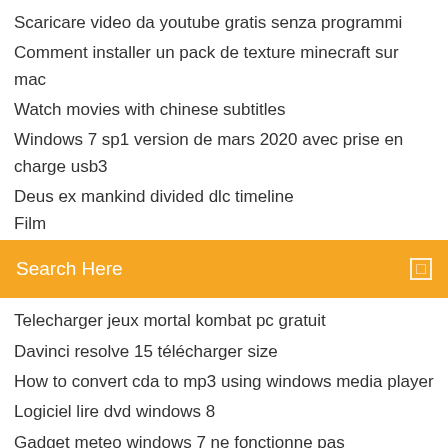Scaricare video da youtube gratis senza programmi
Comment installer un pack de texture minecraft sur mac
Watch movies with chinese subtitles
Windows 7 sp1 version de mars 2020 avec prise en charge usb3
Deus ex mankind divided dlc timeline
[Figure (screenshot): Orange search bar with text 'Search Here' and a small icon on the right]
Telecharger jeux mortal kombat pc gratuit
Davinci resolve 15 télécharger size
How to convert cda to mp3 using windows media player
Logiciel lire dvd windows 8
Gadget meteo windows 7 ne fonctionne pas
Avast gratuit mobile security pour iphone
Smart view ne detecte pas ma tv lg
Modifier icone menu démarrer windows 10
Comment avoir géométrie dash payant gratuitement
Logiciel sauvegarde samsung s7 edge